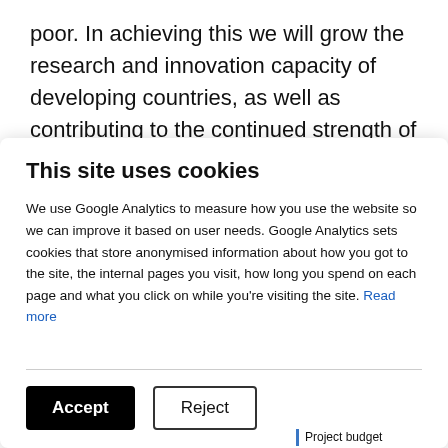poor. In achieving this we will grow the research and innovation capacity of developing countries, as well as contributing to the continued strength of the UK's research and innovation system, and support our wider prosperity and global influence.
This site uses cookies
We use Google Analytics to measure how you use the website so we can improve it based on user needs. Google Analytics sets cookies that store anonymised information about how you got to the site, the internal pages you visit, how long you spend on each page and what you click on while you're visiting the site. Read more
Project budget